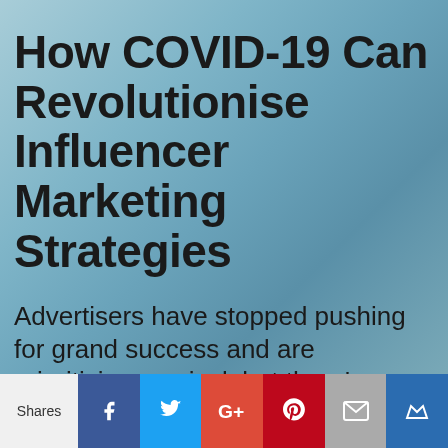How COVID-19 Can Revolutionise Influencer Marketing Strategies
Advertisers have stopped pushing for grand success and are prioritising survival, but there's
We use cookies to ensure that we give you the best experience on our website. If you continue to use this site we will assume that you are happy with it.
Ok
Privacy policy
Shares